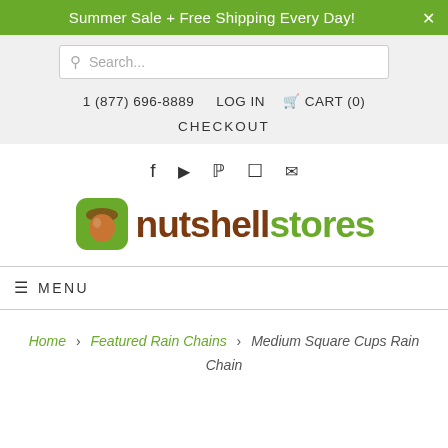Summer Sale + Free Shipping Every Day!
Search...
1 (877) 696-8889   LOG IN   🛒 CART (0)   CHECKOUT
[Figure (logo): Nutshell Stores logo with acorn icon and text 'nutshell stores']
f  ▶  P  ◻  ✉
≡ MENU
Home > Featured Rain Chains > Medium Square Cups Rain Chain